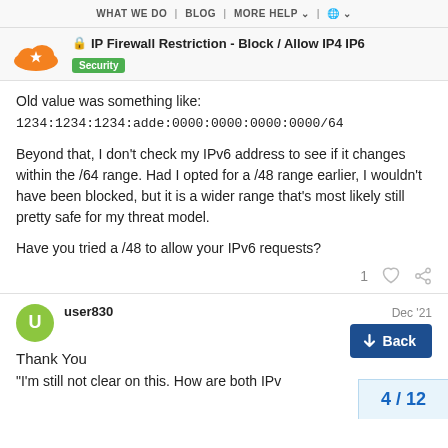WHAT WE DO | BLOG | MORE HELP | (globe)
IP Firewall Restriction - Block / Allow IP4 IP6
Security
Old value was something like:
1234:1234:1234:adde:0000:0000:0000:0000/64
Beyond that, I don't check my IPv6 address to see if it changes within the /64 range. Had I opted for a /48 range earlier, I wouldn't have been blocked, but it is a wider range that's most likely still pretty safe for my threat model.
Have you tried a /48 to allow your IPv6 requests?
1 (like) (link)
user830  Dec '21
Thank You
"I'm still not clear on this. How are both IPv...